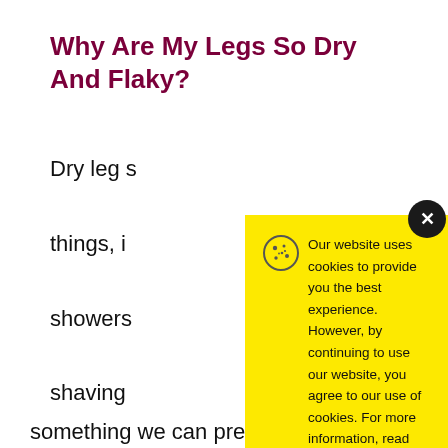Why Are My Legs So Dry And Flaky?
Dry leg s…things, i…showers…shaving…skin of it…oils. So h…
[Figure (screenshot): Cookie consent overlay on yellow background with cookie icon, message about website cookies policy, underlined 'Cookie Policy' link, and a black 'Accept' button. A dark close button with 'x' is in the top-right corner.]
something we can prevent, but it